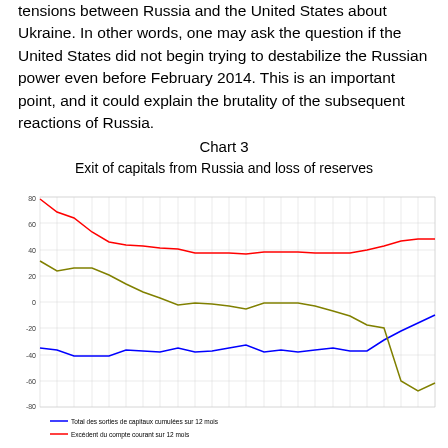tensions between Russia and the United States about Ukraine. In other words, one may ask the question if the United States did not begin trying to destabilize the Russian power even before February 2014. This is an important point, and it could explain the brutality of the subsequent reactions of Russia.
Chart 3
Exit of capitals from Russia and loss of reserves
[Figure (line-chart): Exit of capitals from Russia and loss of reserves]